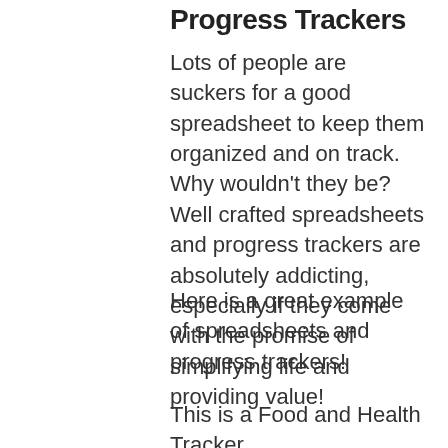Progress Trackers
Lots of people are suckers for a good spreadsheet to keep them organized and on track. Why wouldn't they be? Well crafted spreadsheets and progress trackers are absolutely addicting, especially if they come with the promise of simplifying life and providing value!
Here is a great example of spreadsheets and progress trackers!
This is a Food and Health Tracker